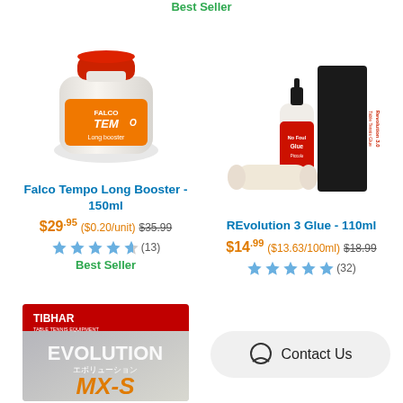Best Seller
[Figure (photo): Falco Tempo Long Booster 150ml white bottle with orange label and red cap]
Falco Tempo Long Booster - 150ml
$29.95  ($0.20/unit)  $35.99
(13)
Best Seller
[Figure (photo): REvolution 3 Glue 110ml bottle with black box packaging]
REvolution 3 Glue - 110ml
$14.99  ($13.63/100ml)  $18.99
(32)
[Figure (photo): Tibhar Evolution MX-S table tennis rubber packaging]
Contact Us